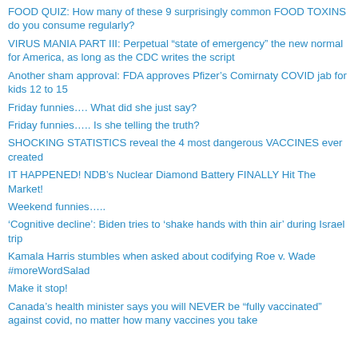FOOD QUIZ: How many of these 9 surprisingly common FOOD TOXINS do you consume regularly?
VIRUS MANIA PART III: Perpetual “state of emergency” the new normal for America, as long as the CDC writes the script
Another sham approval: FDA approves Pfizer’s Comirnaty COVID jab for kids 12 to 15
Friday funnies…. What did she just say?
Friday funnies….. Is she telling the truth?
SHOCKING STATISTICS reveal the 4 most dangerous VACCINES ever created
IT HAPPENED! NDB’s Nuclear Diamond Battery FINALLY Hit The Market!
Weekend funnies…..
‘Cognitive decline’: Biden tries to ‘shake hands with thin air’ during Israel trip
Kamala Harris stumbles when asked about codifying Roe v. Wade #moreWordSalad
Make it stop!
Canada’s health minister says you will NEVER be “fully vaccinated” against covid, no matter how many vaccines you take